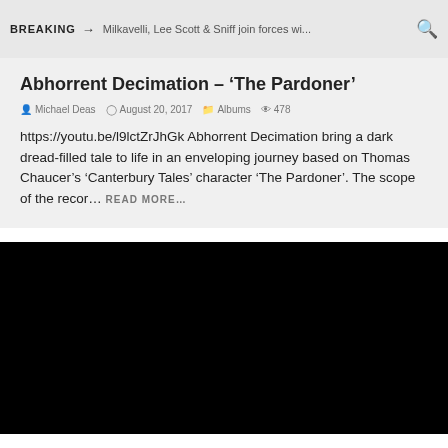BREAKING → Milkavelli, Lee Scott & Sniff join forces wi... 🔍
Abhorrent Decimation – 'The Pardoner'
Michael Deas  August 20, 2017  Albums  478
https://youtu.be/l9lctZrJhGk Abhorrent Decimation bring a dark dread-filled tale to life in an enveloping journey based on Thomas Chaucer's 'Canterbury Tales' character 'The Pardoner'. The scope of the recor… READ MORE…
[Figure (photo): Black image area, likely a video embed or album art placeholder]